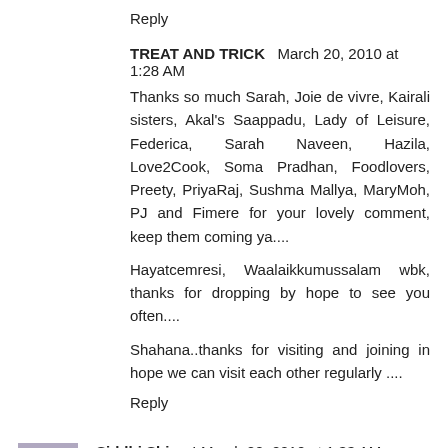Reply
TREAT AND TRICK  March 20, 2010 at 1:28 AM
Thanks so much Sarah, Joie de vivre, Kairali sisters, Akal's Saappadu, Lady of Leisure, Federica, Sarah Naveen, Hazila, Love2Cook, Soma Pradhan, Foodlovers, Preety, PriyaRaj, Sushma Mallya, MaryMoh, PJ and Fimere for your lovely comment, keep them coming ya....
Hayatcemresi, Waalaikkumussalam wbk, thanks for dropping by hope to see you often....
Shahana..thanks for visiting and joining in hope we can visit each other regularly ....
Reply
Siddhi Shirsat  March 20, 2010 at 1:33 AM
wow very tempting recipe looks delicious....i vl try with chicken.. yumm.. nice pic...